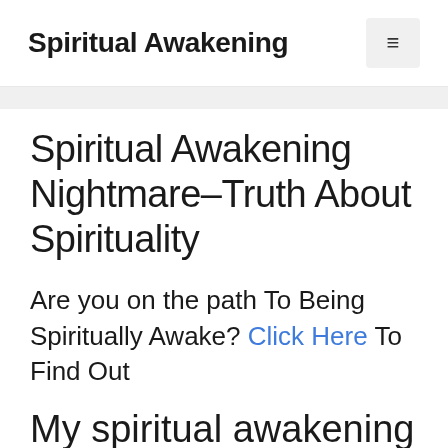Spiritual Awakening
Spiritual Awakening Nightmare–Truth About Spirituality
Are you on the path To Being Spiritually Awake? Click Here To Find Out
My spiritual awakening